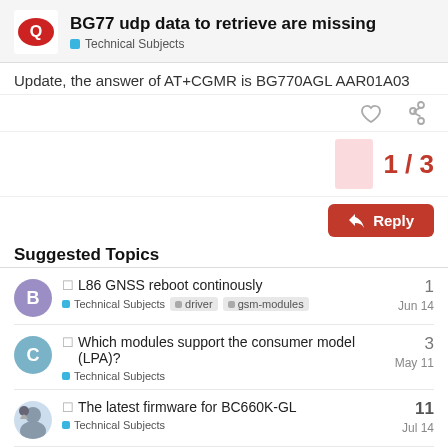BG77 udp data to retrieve are missing — Technical Subjects
Update, the answer of AT+CGMR is BG770AGL AAR01A03
1 / 3
Suggested Topics
L86 GNSS reboot continously — Technical Subjects, driver, gsm-modules — 1 — Jun 14
Which modules support the consumer model (LPA)? — Technical Subjects — 3 — May 11
The latest firmware for BC660K-GL — Technical Subjects — 11 — Jul 14